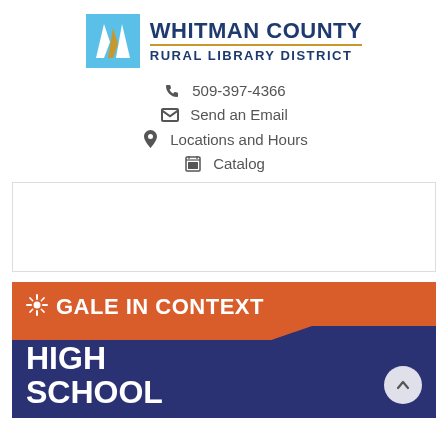[Figure (logo): Whitman County Rural Library District logo with stylized W icon in blue/gold and navy text]
509-397-4366
Send an Email
Locations and Hours
Catalog
[Figure (other): Empty bordered white box (placeholder/ad space)]
[Figure (illustration): Gale in Context: High School promotional banner with orange and navy background and students studying in background]